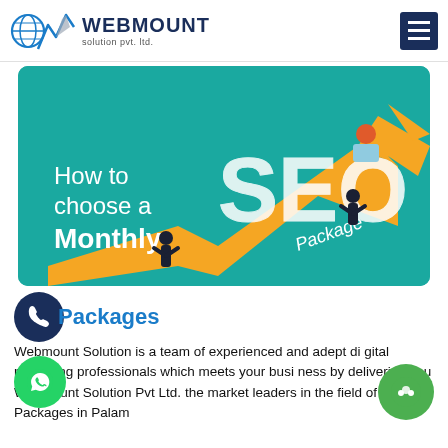WEBMOUNT solution pvt. ltd.
[Figure (infographic): SEO infographic banner on teal background showing 'How to choose a Monthly SEO Package' text with large 'SEO' letters, orange rising arrow, and silhouette figures]
Packages
Webmount Solution is a team of experienced and adept digital marketing professionals which meets your business by delivering you Webmount Solution Pvt Ltd. the market leaders in the field of SEO Packages in Palam